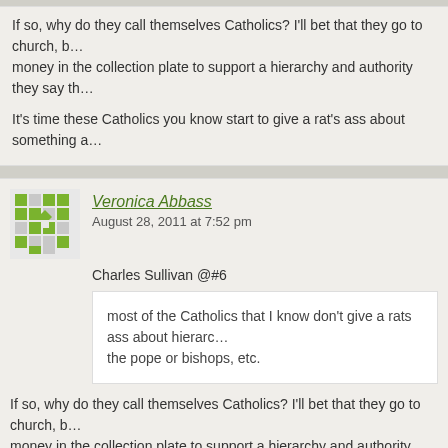If so, why do they call themselves Catholics? I'll bet that they go to church, b... money in the collection plate to support a hierarchy and authority they say th...
It's time these Catholics you know start to give a rat's ass about something a...
Veronica Abbass
August 28, 2011 at 7:52 pm
Charles Sullivan @#6
most of the Catholics that I know don't give a rats ass about hierarc... the pope or bishops, etc.
If so, why do they call themselves Catholics? I'll bet that they go to church, b... money in the collection plate to support a hierarchy and authority they say th...
It's time these Catholics you know start to give a rat's ass about something a...